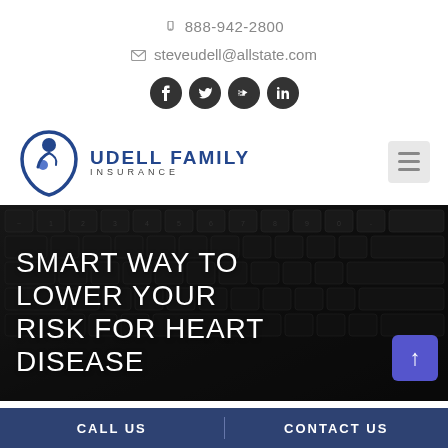888-942-2800
steveudell@allstate.com
[Figure (other): Social media icons: Facebook, Twitter, YouTube, LinkedIn]
[Figure (logo): Udell Family Insurance logo with blue family figure icon and text UDELL FAMILY INSURANCE]
[Figure (photo): Close-up photo of a laptop keyboard with Cyrillic keys in dark tones, overlaid with large white uppercase text: SMART WAY TO LOWER YOUR RISK FOR HEART DISEASE]
CALL US
CONTACT US